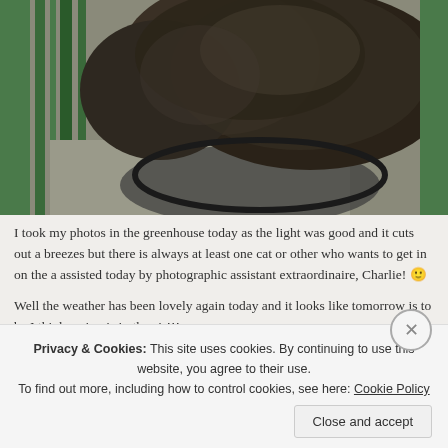[Figure (photo): Close-up photograph of a dark brown/black fluffy cat, viewed from above, inside what appears to be a greenhouse with green metal bars visible. The cat's fur fills most of the frame.]
I took my photos in the greenhouse today as the light was good and it cuts out a breezes but there is always at least one cat or other who wants to get in on the a assisted today by photographic assistant extraordinaire, Charlie! 🙂
Well the weather has been lovely again today and it looks like tomorrow is to be I think spring is in the air!!!
Privacy & Cookies: This site uses cookies. By continuing to use this website, you agree to their use. To find out more, including how to control cookies, see here: Cookie Policy
Close and accept